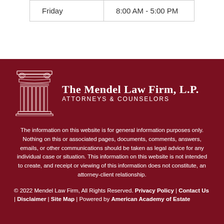| Friday | 8:00 AM - 5:00 PM |
[Figure (logo): The Mendel Law Firm, L.P. logo with a classical column capital icon in white on dark red background, with firm name and subtitle 'Attorneys & Counselors']
The information on this website is for general information purposes only. Nothing on this or associated pages, documents, comments, answers, emails, or other communications should be taken as legal advice for any individual case or situation. This information on this website is not intended to create, and receipt or viewing of this information does not constitute, an attorney-client relationship.
© 2022 Mendel Law Firm, All Rights Reserved. Privacy Policy | Contact Us | Disclaimer | Site Map | Powered by American Academy of Estate